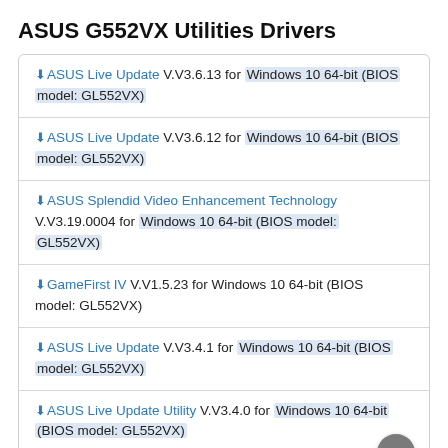ASUS G552VX Utilities Drivers
ASUS Live Update V.V3.6.13 for Windows 10 64-bit (BIOS model: GL552VX)
ASUS Live Update V.V3.6.12 for Windows 10 64-bit (BIOS model: GL552VX)
ASUS Splendid Video Enhancement Technology V.V3.19.0004 for Windows 10 64-bit (BIOS model: GL552VX)
GameFirst IV V.V1.5.23 for Windows 10 64-bit (BIOS model: GL552VX)
ASUS Live Update V.V3.4.1 for Windows 10 64-bit (BIOS model: GL552VX)
ASUS Live Update Utility V.V3.4.0 for Windows 10 64-bit (BIOS model: GL552VX)